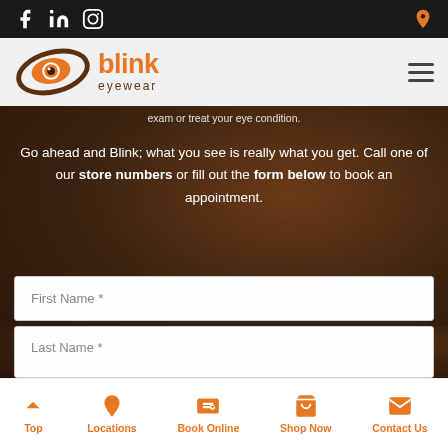[Figure (screenshot): Top navigation bar with social media icons (Facebook, LinkedIn, Instagram) on left and orange location pin on right, dark background]
[Figure (logo): Blink Eyewear logo with orange eye/swirl icon and orange 'blink' text with brown 'eyewear' subtext, on light grey bar with hamburger menu]
exam or treat your eye condition.
Go ahead and Blink; what you see is really what you get. Call one of our store numbers or fill out the form below to book an appointment.
First Name *
Last Name *
[Figure (screenshot): Bottom navigation bar with Top, Locations, Book Online, Shop Now, Contact Us icons in orange]
Top | Locations | Book Online | Shop Now | Contact Us